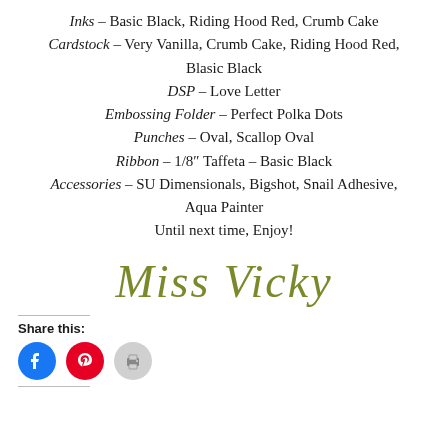Inks – Basic Black, Riding Hood Red, Crumb Cake
Cardstock – Very Vanilla, Crumb Cake, Riding Hood Red, Blasic Black
DSP – Love Letter
Embossing Folder – Perfect Polka Dots
Punches – Oval, Scallop Oval
Ribbon – 1/8″ Taffeta – Basic Black
Accessories – SU Dimensionals, Bigshot, Snail Adhesive, Aqua Painter
Until next time, Enjoy!
[Figure (illustration): Cursive signature reading 'Miss Vicky' in olive/gold script]
Share this:
[Figure (other): Social sharing icons: Facebook (blue circle), Pinterest (red circle), Print (gray circle)]